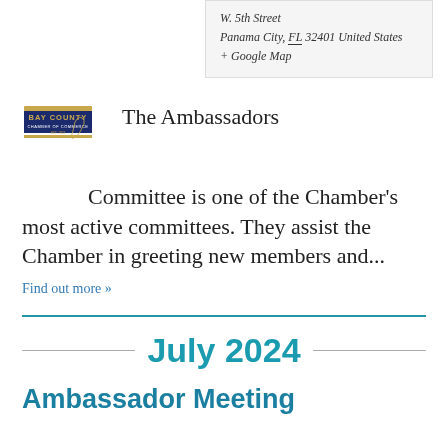W. 5th Street
Panama City, FL 32401 United States
+ Google Map
[Figure (logo): Bay County Chamber of Commerce logo with Florida state outline graphic and text in navy blue and gold]
The Ambassadors Committee is one of the Chamber's most active committees. They assist the Chamber in greeting new members and...
Find out more »
July 2024
Ambassador Meeting